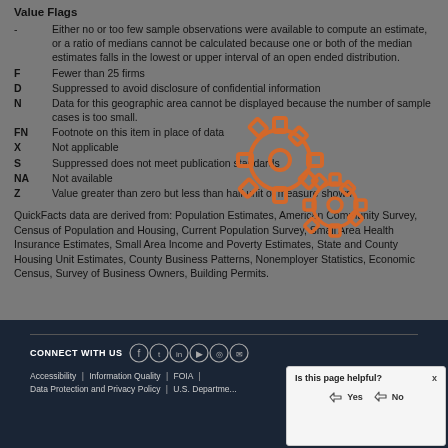Value Flags
- Either no or too few sample observations were available to compute an estimate, or a ratio of medians cannot be calculated because one or both of the median estimates falls in the lowest or upper interval of an open ended distribution.
F Fewer than 25 firms
D Suppressed to avoid disclosure of confidential information
N Data for this geographic area cannot be displayed because the number of sample cases is too small.
FN Footnote on this item in place of data
X Not applicable
S Suppressed does not meet publication standards
NA Not available
Z Value greater than zero but less than half unit of measure shown
QuickFacts data are derived from: Population Estimates, American Community Survey, Census of Population and Housing, Current Population Survey, Small Area Health Insurance Estimates, Small Area Income and Poverty Estimates, State and County Housing Unit Estimates, County Business Patterns, Nonemployer Statistics, Economic Census, Survey of Business Owners, Building Permits.
[Figure (illustration): Two orange gear/cog icons overlaid on the content area]
CONNECT WITH US | Accessibility | Information Quality | FOIA | Data Protection and Privacy Policy | U.S. Department...